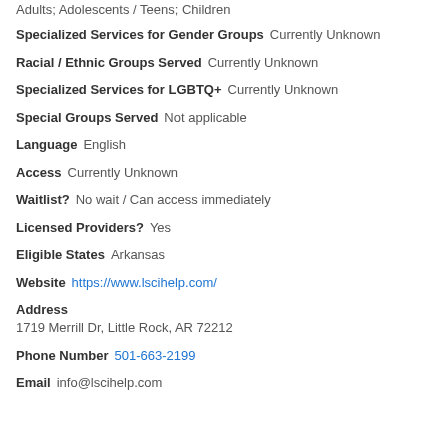Adults; Adolescents / Teens; Children
Specialized Services for Gender Groups   Currently Unknown
Racial / Ethnic Groups Served   Currently Unknown
Specialized Services for LGBTQ+   Currently Unknown
Special Groups Served   Not applicable
Language   English
Access   Currently Unknown
Waitlist?   No wait / Can access immediately
Licensed Providers?   Yes
Eligible States   Arkansas
Website   https://www.lscihelp.com/
Address   1719 Merrill Dr, Little Rock, AR 72212
Phone Number   501-663-2199
Email   info@lscihelp.com